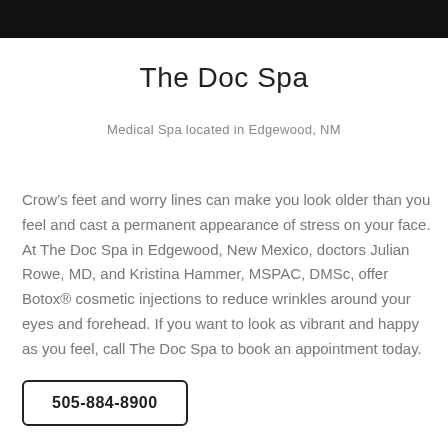The Doc Spa
Medical Spa located in Edgewood, NM
Crow’s feet and worry lines can make you look older than you feel and cast a permanent appearance of stress on your face. At The Doc Spa in Edgewood, New Mexico, doctors Julian Rowe, MD, and Kristina Hammer, MSPAC, DMSc, offer Botox® cosmetic injections to reduce wrinkles around your eyes and forehead. If you want to look as vibrant and happy as you feel, call The Doc Spa to book an appointment today.
505-884-8900